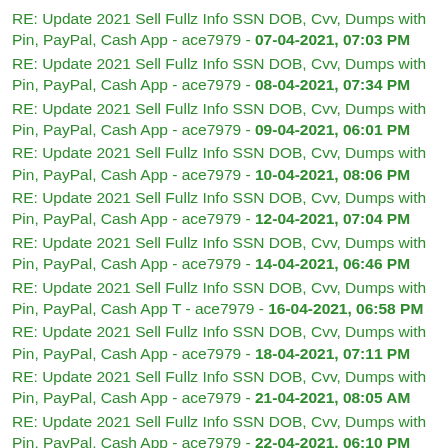RE: Update 2021 Sell Fullz Info SSN DOB, Cvv, Dumps with Pin, PayPal, Cash App - ace7979 - 07-04-2021, 07:03 PM
RE: Update 2021 Sell Fullz Info SSN DOB, Cvv, Dumps with Pin, PayPal, Cash App - ace7979 - 08-04-2021, 07:34 PM
RE: Update 2021 Sell Fullz Info SSN DOB, Cvv, Dumps with Pin, PayPal, Cash App - ace7979 - 09-04-2021, 06:01 PM
RE: Update 2021 Sell Fullz Info SSN DOB, Cvv, Dumps with Pin, PayPal, Cash App - ace7979 - 10-04-2021, 08:06 PM
RE: Update 2021 Sell Fullz Info SSN DOB, Cvv, Dumps with Pin, PayPal, Cash App - ace7979 - 12-04-2021, 07:04 PM
RE: Update 2021 Sell Fullz Info SSN DOB, Cvv, Dumps with Pin, PayPal, Cash App - ace7979 - 14-04-2021, 06:46 PM
RE: Update 2021 Sell Fullz Info SSN DOB, Cvv, Dumps with Pin, PayPal, Cash App T - ace7979 - 16-04-2021, 06:58 PM
RE: Update 2021 Sell Fullz Info SSN DOB, Cvv, Dumps with Pin, PayPal, Cash App - ace7979 - 18-04-2021, 07:11 PM
RE: Update 2021 Sell Fullz Info SSN DOB, Cvv, Dumps with Pin, PayPal, Cash App - ace7979 - 21-04-2021, 08:05 AM
RE: Update 2021 Sell Fullz Info SSN DOB, Cvv, Dumps with Pin, PayPal, Cash App - ace7979 - 22-04-2021, 06:10 PM
RE: Update 2021 Sell Fullz Info SSN DOB, Cvv, Dumps